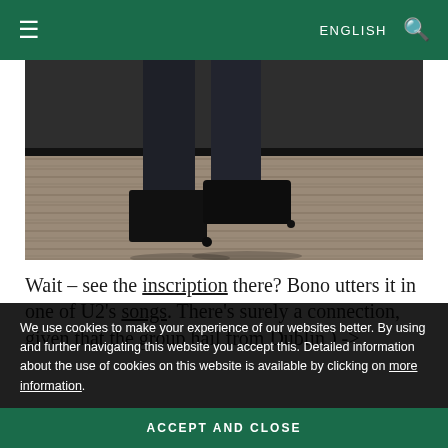≡  ENGLISH 🔍
[Figure (photo): Lower half of a person in dark trousers wearing black leather boots, standing on a wooden floor]
Wait – see the inscription there? Bono utters it in one of U2's songs. There's surely a connection, given that the group hail from Dublin ) ->
We use cookies to make your experience of our websites better. By using and further navigating this website you accept this. Detailed information about the use of cookies on this website is available by clicking on more information.
ACCEPT AND CLOSE